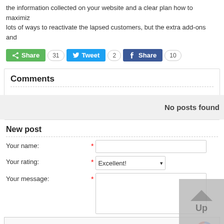the information collected on your website and a clear plan how to maximize lots of ways to reactivate the lapsed customers, but the extra add-ons and
[Figure (other): Social sharing buttons: Share (green, 31), Tweet (blue, 2), Share (Facebook dark blue, 10)]
Comments
No posts found
New post
Your name: *
Your rating: * Excellent!
Your message: *
[Figure (other): reCAPTCHA widget with checkbox and 'I'm not a robot' label]
[Figure (other): Up button (grey arrow pointing up with 'Up' label)]